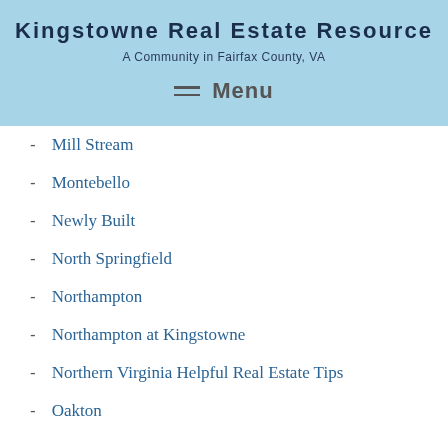Kingstowne Real Estate Resource
A Community in Fairfax County, VA
Menu
Mill Stream
Montebello
Newly Built
North Springfield
Northampton
Northampton at Kingstowne
Northern Virginia Helpful Real Estate Tips
Oakton